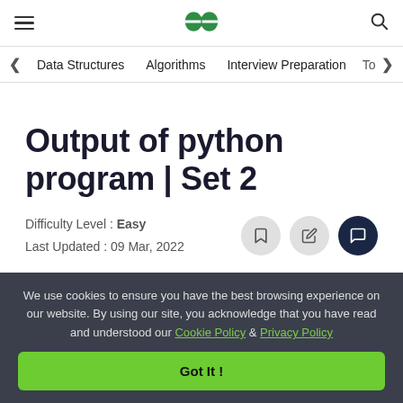GeeksforGeeks header with hamburger menu, GFG logo, and search icon
Data Structures  Algorithms  Interview Preparation  To>
Output of python program | Set 2
Difficulty Level : Easy
Last Updated : 09 Mar, 2022
We use cookies to ensure you have the best browsing experience on our website. By using our site, you acknowledge that you have read and understood our Cookie Policy & Privacy Policy
Got It !